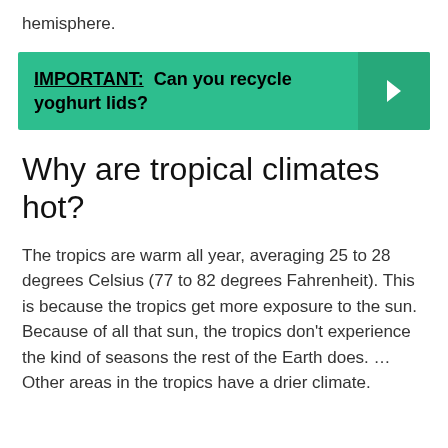hemisphere.
[Figure (infographic): Green banner with text 'IMPORTANT: Can you recycle yoghurt lids?' and a right-arrow button on the right side.]
Why are tropical climates hot?
The tropics are warm all year, averaging 25 to 28 degrees Celsius (77 to 82 degrees Fahrenheit). This is because the tropics get more exposure to the sun. Because of all that sun, the tropics don't experience the kind of seasons the rest of the Earth does. ... Other areas in the tropics have a drier climate.